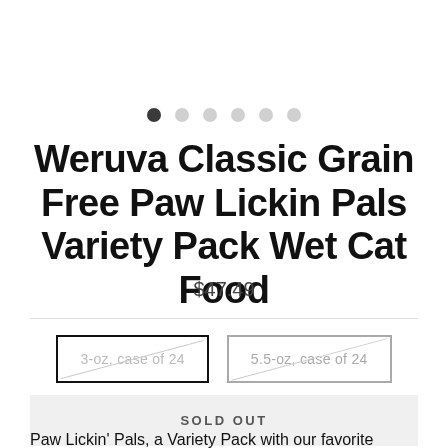[Figure (other): Carousel navigation dots: one filled dark dot followed by five light/empty dots]
Weruva Classic Grain Free Paw Lickin Pals Variety Pack Wet Cat Food
$47.49
3-oz, case of 24 | 5.5-oz, case of 24
SOLD OUT
Paw Lickin' Pals, a Variety Pack with our favorite Weruva Chicken based